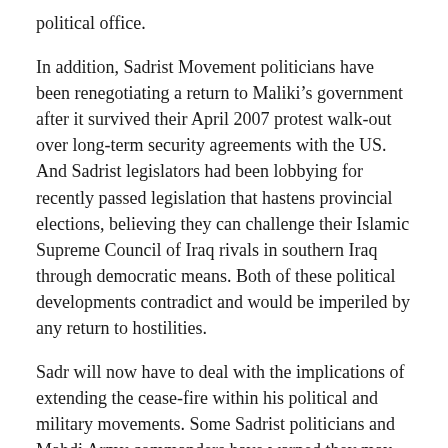political office.
In addition, Sadrist Movement politicians have been renegotiating a return to Maliki’s government after it survived their April 2007 protest walk-out over long-term security agreements with the US. And Sadrist legislators had been lobbying for recently passed legislation that hastens provincial elections, believing they can challenge their Islamic Supreme Council of Iraq rivals in southern Iraq through democratic means. Both of these political developments contradict and would be imperiled by any return to hostilities.
Sadr will now have to deal with the implications of extending the cease-fire within his political and military movements. Some Sadrist politicians and Mahdi Army commanders have warned they may break from Sadr and fight on.
The Special Groups, Iran, and the Mahdi Army
The Special Groups was created by Iran’s Qods Force, the special operations branch of the Iranian Revolutionary Guards